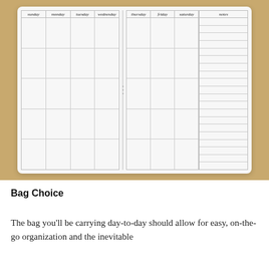[Figure (photo): A weekly planner whiteboard with two pages spread open on a wooden table. Left page has columns for sunday, monday, tuesday, wednesday. Right page has columns for thursday, friday, saturday, and a notes section with many narrow ruled lines. Each page has 5 rows of empty cells.]
Bag Choice
The bag you'll be carrying day-to-day should allow for easy, on-the-go organization and the inevitable